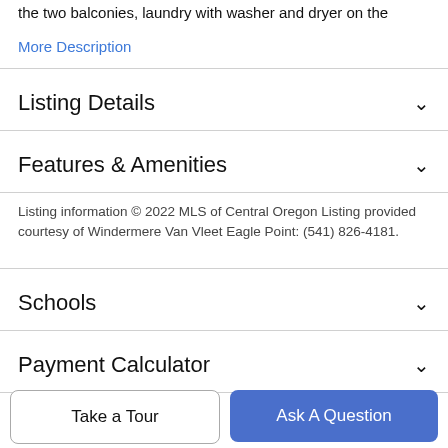the two balconies, laundry with washer and dryer on the
More Description
Listing Details
Features & Amenities
Listing information © 2022 MLS of Central Oregon Listing provided courtesy of Windermere Van Vleet Eagle Point: (541) 826-4181.
Schools
Payment Calculator
Contact Agent
Take a Tour
Ask A Question